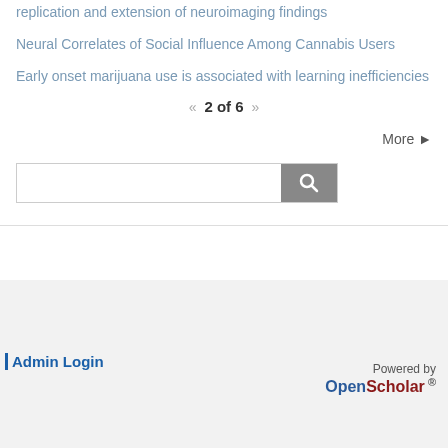replication and extension of neuroimaging findings
Neural Correlates of Social Influence Among Cannabis Users
Early onset marijuana use is associated with learning inefficiencies
« 2 of 6 »
More ▶
[Figure (other): Search input box with search button (magnifying glass icon)]
Admin Login
Powered by OpenScholar ®